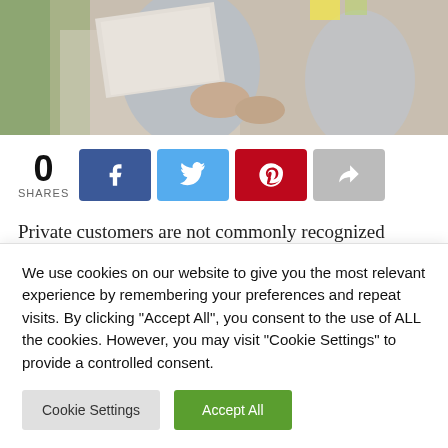[Figure (photo): A woman in a grey blazer holding papers and exchanging something with another person, office setting]
0
SHARES
[Figure (infographic): Social share buttons: Facebook, Twitter, Pinterest, and a generic share button]
Private customers are not commonly recognized
We use cookies on our website to give you the most relevant experience by remembering your preferences and repeat visits. By clicking "Accept All", you consent to the use of ALL the cookies. However, you may visit "Cookie Settings" to provide a controlled consent.
Cookie Settings   Accept All